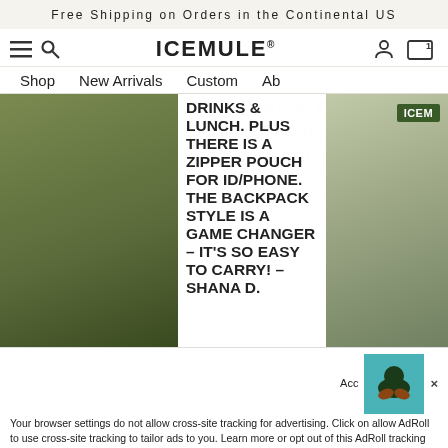Free Shipping on Orders in the Continental US
[Figure (screenshot): ICEMULE website navigation bar with hamburger menu, search icon, ICEMULE logo, user icon, and cart icon]
Shop   New Arrivals   Custom   Ab
DRINKS & LUNCH. PLUS THERE IS A ZIPPER POUCH FOR ID/PHONE. THE BACKPACK STYLE IS A GAME CHANGER – IT'S SO EASY TO CARRY! – SHANA D.
Acc  ×
Your browser settings do not allow cross-site tracking for advertising. Click on allow AdRoll to use cross-site tracking to tailor ads to you. Learn more or opt out of this AdRoll tracking by clicking here. This message only appears once.